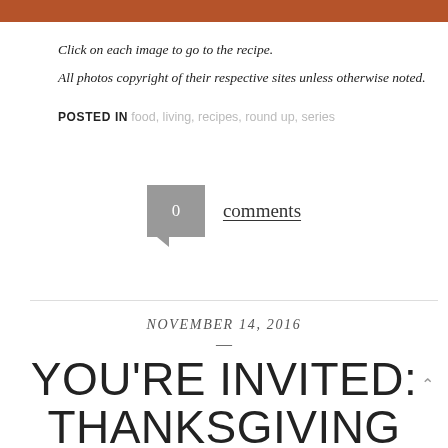[Figure (other): Burnt orange/terracotta colored header bar at top of page]
Click on each image to go to the recipe.
All photos copyright of their respective sites unless otherwise noted.
POSTED IN food, living, recipes, round up, series
0 comments
NOVEMBER 14, 2016
YOU'RE INVITED: THANKSGIVING